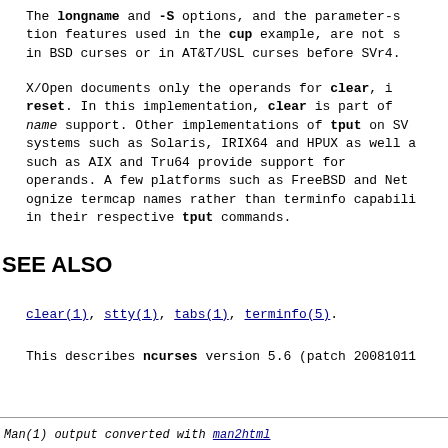The longname and -S options, and the parameter-substitution features used in the cup example, are not supported in BSD curses or in AT&T/USL curses before SVr4.
X/Open documents only the operands for clear, init, and reset. In this implementation, clear is part of the longname support. Other implementations of tput on SVr4-based systems such as Solaris, IRIX64 and HPUX as well as others such as AIX and Tru64 provide support for long-name operands. A few platforms such as FreeBSD and NetBSD recognize termcap names rather than terminfo capability names in their respective tput commands.
SEE ALSO
clear(1), stty(1), tabs(1), terminfo(5).
This describes ncurses version 5.6 (patch 20081011).
Man(1) output converted with man2html